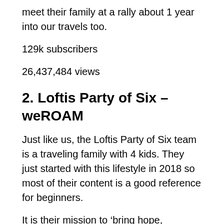meet their family at a rally about 1 year into our travels too.
129k subscribers
26,437,484 views
2. Loftis Party of Six – weROAM
Just like us, the Loftis Party of Six team is a traveling family with 4 kids. They just started with this lifestyle in 2018 so most of their content is a good reference for beginners.
It is their mission to ‘bring hope, laughter, inspiration, freedom, love, and faith’ to those who follow their journey. They’re also very willing to share their ups and downs and why’s and how’s of RVing through their videos.